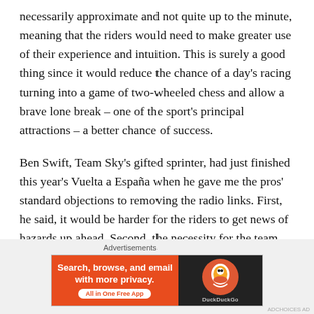necessarily approximate and not quite up to the minute, meaning that the riders would need to make greater use of their experience and intuition. This is surely a good thing since it would reduce the chance of a day's racing turning into a game of two-wheeled chess and allow a brave lone break – one of the sport's principal attractions – a better chance of success.
Ben Swift, Team Sky's gifted sprinter, had just finished this year's Vuelta a España when he gave me the pros' standard objections to removing the radio links. First, he said, it would be harder for the riders to get news of hazards up ahead. Second, the necessity for the team cars to spend more time alongside the riders would
Advertisements
[Figure (other): DuckDuckGo advertisement banner: orange left panel with text 'Search, browse, and email with more privacy. All in One Free App' and dark right panel with DuckDuckGo logo duck icon and text 'DuckDuckGo']